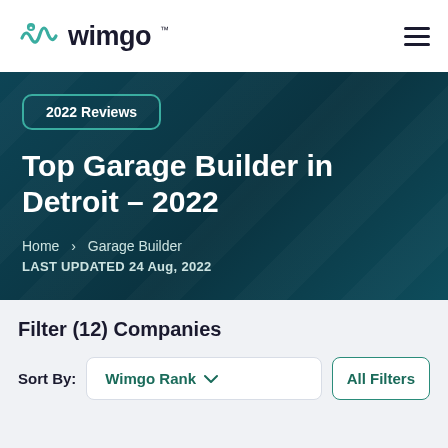wimgo
[Figure (logo): Wimgo logo with teal wave/squiggle icon and 'wimgo' wordmark in dark navy, hamburger menu icon on the right]
2022 Reviews
Top Garage Builder in Detroit – 2022
Home > Garage Builder
LAST UPDATED 24 Aug, 2022
Filter (12) Companies
Sort By: Wimgo Rank ∨   All Filters